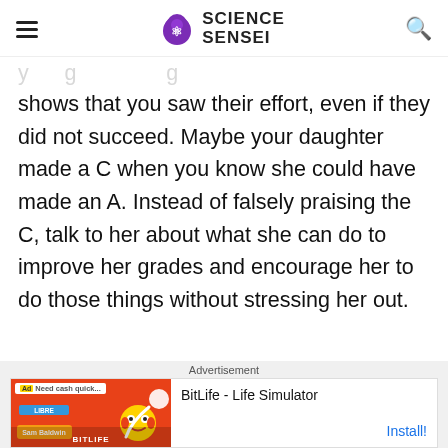SCIENCE SENSEI
shows that you saw their effort, even if they did not succeed. Maybe your daughter made a C when you know she could have made an A. Instead of falsely praising the C, talk to her about what she can do to improve her grades and encourage her to do those things without stressing her out.
[Figure (screenshot): Advertisement banner for BitLife - Life Simulator app with red background on the left side showing app UI elements and the text 'BitLife - Life Simulator' and 'Install!' button on the right]